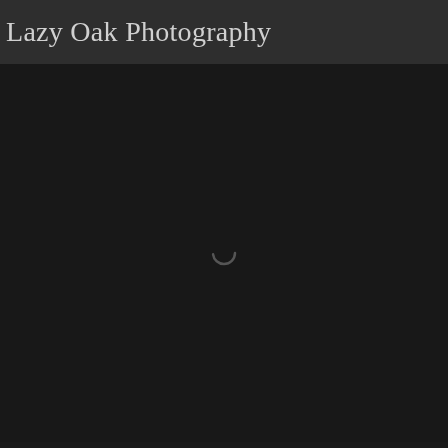Lazy Oak Photography
[Figure (screenshot): Dark background with a loading spinner icon (circular arc) centered in the main content area below the header.]